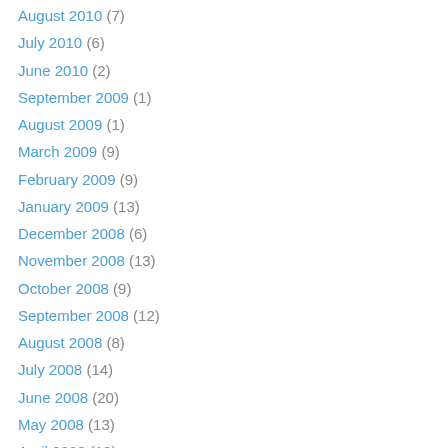August 2010 (7)
July 2010 (6)
June 2010 (2)
September 2009 (1)
August 2009 (1)
March 2009 (9)
February 2009 (9)
January 2009 (13)
December 2008 (6)
November 2008 (13)
October 2008 (9)
September 2008 (12)
August 2008 (8)
July 2008 (14)
June 2008 (20)
May 2008 (13)
April 2008 (12)
March 2008 (9)
February 2008 (14)
January 2008 (18)